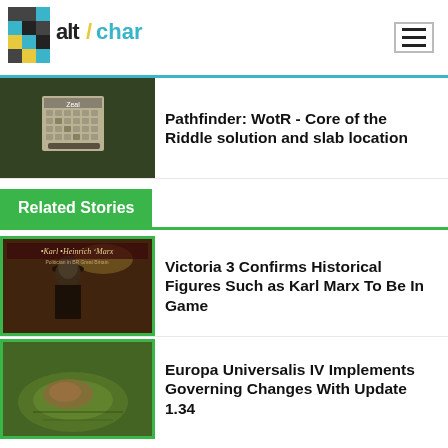altchar (logo) | hamburger menu
[Figure (screenshot): Pathfinder WotR game screenshot showing a puzzle/calendar interface in a dark forest environment]
Pathfinder: WotR - Core of the Riddle solution and slab location
Related Stories
[Figure (screenshot): Victoria 3 game screenshot showing Karl Heinrich Marx character card, man in black hat in ornate interior]
Victoria 3 Confirms Historical Figures Such as Karl Marx To Be In Game
[Figure (screenshot): Europa Universalis IV game screenshot showing aerial/map view of a settlement or landscape]
Europa Universalis IV Implements Governing Changes With Update 1.34